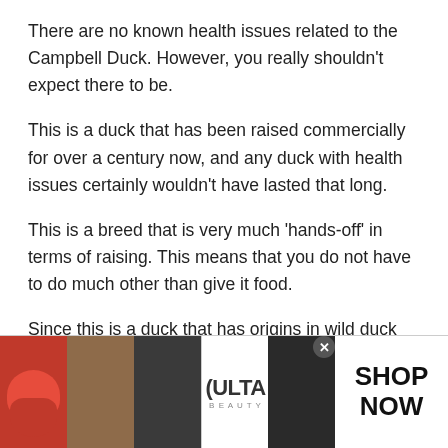There are no known health issues related to the Campbell Duck. However, you really shouldn't expect there to be.
This is a duck that has been raised commercially for over a century now, and any duck with health issues certainly wouldn't have lasted that long.
This is a breed that is very much 'hands-off' in terms of raising. This means that you do not have to do much other than give it food.
Since this is a duck that has origins in wild duck
[Figure (photo): Advertisement banner showing beauty/makeup images including lips with red lipstick, a makeup brush, an eye with eyeliner, Ulta Beauty logo, and another eye with dramatic eye makeup, with 'SHOP NOW' text and a close button.]